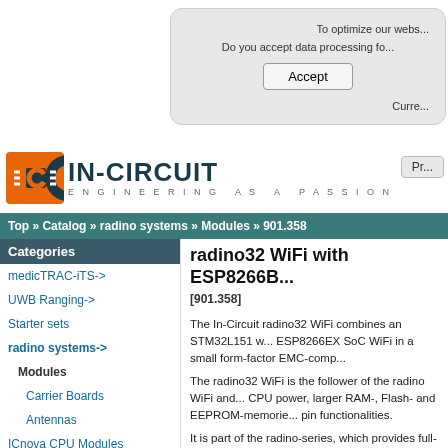To optimize our webs...
Do you accept data processing fo...
Accept
Curre...
[Figure (logo): IN-CIRCUIT logo with orange chip icon and tagline ENGINEERING AS A PASSION]
Pr...
Top » Catalog » radino systems » Modules » 901.358
Categories
medicTRAC-iTS->
UWB Ranging->
Starter sets
radino systems->
Modules
Carrier Boards
Antennas
ICnova CPU Modules
ICfly Avionics->
3D printing
Equipment->
Chips
radino32 WiFi with ESP8266B...
[901.358]
The In-Circuit radino32 WiFi combines an STM32L151 w... ESP8266EX SoC WiFi in a small form-factor EMC-comp...
The radino32 WiFi is the follower of the radino WiFi and... CPU power, larger RAM-, Flash- and EEPROM-memorie... pin functionalities.
It is part of the radino-series, which provides full-Arduino...